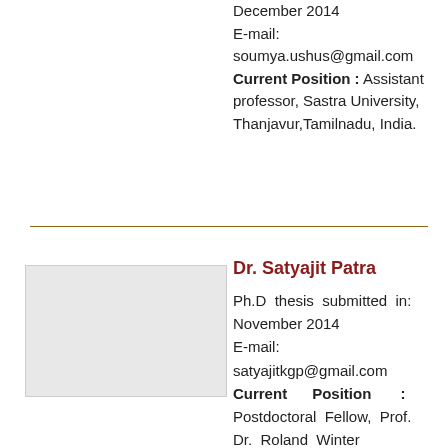December 2014
E-mail:
soumya.ushus@gmail.com
Current Position : Assistant professor, Sastra University, Thanjavur,Tamilnadu, India.
[Figure (photo): Profile photo placeholder for Dr. Satyajit Patra]
Dr. Satyajit Patra
Ph.D thesis submitted in: November 2014
E-mail:
satyajitkgp@gmail.com
Current Position : Postdoctoral Fellow, Prof. Dr. Roland Winter Research Group, Department of